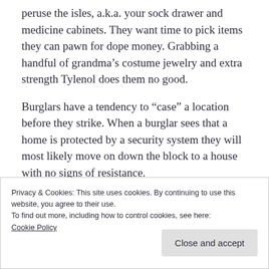peruse the isles, a.k.a. your sock drawer and medicine cabinets. They want time to pick items they can pawn for dope money. Grabbing a handful of grandma’s costume jewelry and extra strength Tylenol does them no good.
Burglars have a tendency to “case” a location before they strike. When a burglar sees that a home is protected by a security system they will most likely move on down the block to a house with no signs of resistance.
Privacy & Cookies: This site uses cookies. By continuing to use this website, you agree to their use.
To find out more, including how to control cookies, see here:
Cookie Policy